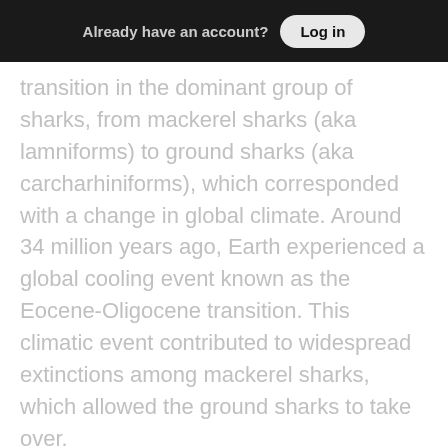Already have an account? Log in
transition in the dominant group of sharks, from mackerel sharks (aka lamniforms) to ground sharks (aka carcharhiniforms), which corresponded with a change in global climate. Around 34 million years ago, Earth experienced a global cooling event known as the Eocene-Oligocene transition. This climatic event contributed to widespread extinctions among mackerel sharks, which allowed the ground sharks to take over.
[Figure (photo): Photo of a hamburger/cheeseburger in an advertisement]
Here Are 7 Legal Discounts Seniors Only Get When They Ask
Senior Discounts By National Penny | Sponsored